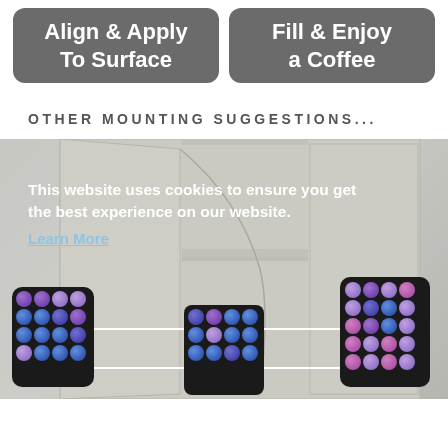[Figure (infographic): Two dark grey rounded rectangle buttons side by side. Left button reads 'Align & Apply To Surface'. Right button reads 'Fill & Enjoy a Coffee'.]
OTHER MOUNTING SUGGESTIONS...
[Figure (photo): Photo of an open white kitchen cabinet with three coffee pod holders (Nespresso-style) mounted inside — one on the left door, one on the right door, and one on the shelf. A cookie consent overlay with text 'This website uses cookies to ensure you get the best experience on our website. Learn More' and a 'Got it!' button is overlaid on the photo.]
This website uses cookies to ensure you get the best experience on our website.
Learn More
Got it!